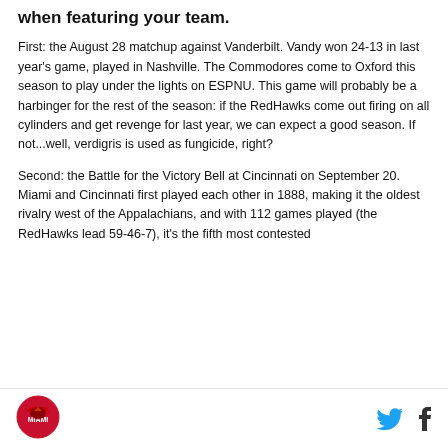when featuring your team.
First: the August 28 matchup against Vanderbilt. Vandy won 24-13 in last year's game, played in Nashville. The Commodores come to Oxford this season to play under the lights on ESPNU. This game will probably be a harbinger for the rest of the season: if the RedHawks come out firing on all cylinders and get revenge for last year, we can expect a good season. If not...well, verdigris is used as fungicide, right?
Second: the Battle for the Victory Bell at Cincinnati on September 20. Miami and Cincinnati first played each other in 1888, making it the oldest rivalry west of the Appalachians, and with 112 games played (the RedHawks lead 59-46-7), it's the fifth most contested
[Figure (logo): Miami RedHawks circular logo]
[Figure (other): Twitter and Facebook social media icons]